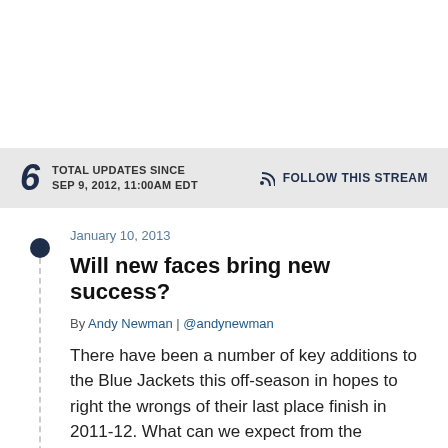6 TOTAL UPDATES SINCE SEP 9, 2012, 11:00AM EDT
FOLLOW THIS STREAM
January 10, 2013
Will new faces bring new success?
By Andy Newman | @andynewman
There have been a number of key additions to the Blue Jackets this off-season in hopes to right the wrongs of their last place finish in 2011-12. What can we expect from the additions? Let's take a look.